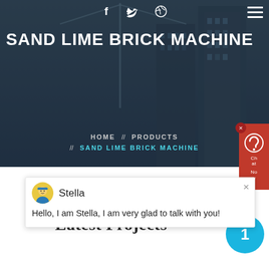SAND LIME BRICK MACHINE
[Figure (screenshot): Website screenshot showing hero section with construction/building background, navigation breadcrumb HOME // PRODUCTS // SAND LIME BRICK MACHINE, a chat popup with avatar Stella saying 'Hello, I am Stella, I am very glad to talk with you!', Latest Projects heading, blue badge circle with number 1, and bottom machinery photo.]
SAND LIME BRICK MACHINE
HOME  //  PRODUCTS  //  SAND LIME BRICK MACHINE
Stella
Hello, I am Stella, I am very glad to talk with you!
Latest Projects